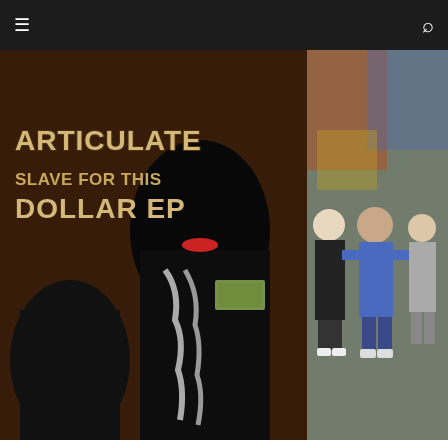≡  🔍
[Figure (photo): Album cover for Articulate – Slave For This Dollar EP. Features a figure in blackface makeup with chains around neck holding a dollar bill, and another figure in background.]
[Figure (photo): Partial photo of three men standing in front of a graffiti wall, partially cropped on the right side.]
ARTICULATE :: SLAVE FOR THIS DOLLAR
PATRICK TAYLOR  ✕  JULY 15, 2008
SLEPT ON FAM :: AU
MATT TOMER  ✕  OCTO
WRITERS' PLAYLIST
Over 5,000 tracks and 330 hours! Updated weekly